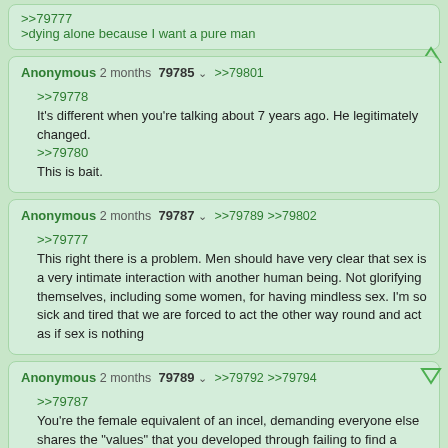>>79777
>dying alone because I want a pure man
Anonymous 2 months  79785  >>79801

>>79778
It's different when you're talking about 7 years ago. He legitimately changed.
>>79780
This is bait.
Anonymous 2 months  79787  >>79789  >>79802

>>79777
This right there is a problem. Men should have very clear that sex is a very intimate interaction with another human being. Not glorifying themselves, including some women, for having mindless sex. I'm so sick and tired that we are forced to act the other way round and act as if sex is nothing
Anonymous 2 months  79789  >>79792  >>79794

>>79787
You're the female equivalent of an incel, demanding everyone else shares the "values" that you developed through failing to find a partner.
Anonymous 2 months  79792  >>79803

>>79789